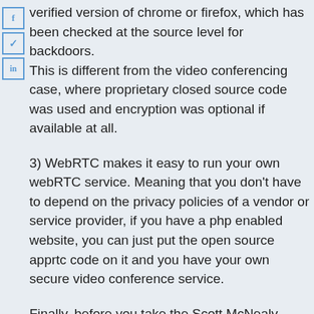verified version of chrome or firefox, which has been checked at the source level for backdoors. This is different from the video conferencing case, where proprietary closed source code was used and encryption was optional if available at all.
3) WebRTC makes it easy to run your own webRTC service. Meaning that you don't have to depend on the privacy policies of a vendor or service provider, if you have a php enabled website, you can just put the open source apprtc code on it and you have your own secure video conference service.
Finally, before you take the Scott McNealy